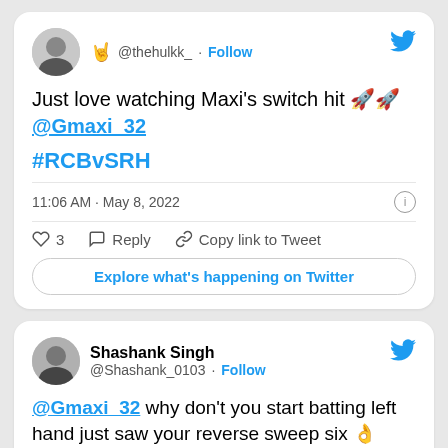[Figure (screenshot): Twitter/X screenshot showing two tweet cards. First tweet by @thehulkk_ with rock-on emoji saying 'Just love watching Maxi's switch hit 🚀🚀 @Gmaxi_32 #RCBvSRH' posted at 11:06 AM May 8, 2022, with 3 likes. Second tweet by Shashank Singh @Shashank_0103 saying '@Gmaxi_32 why don't you start batting left hand just saw your reverse sweep six 👌']